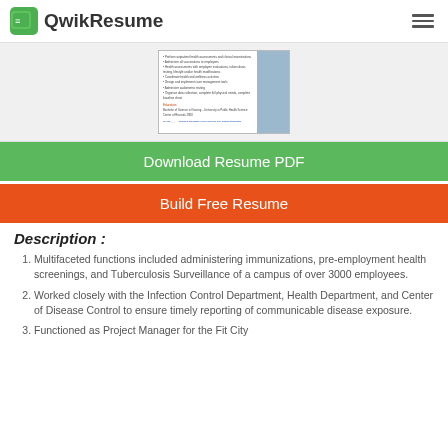QwikResume
[Figure (screenshot): Thumbnail preview of a resume document with blue sidebar]
Download Resume PDF
Build Free Resume
Description :
Multifaceted functions included administering immunizations, pre-employment health screenings, and Tuberculosis Surveillance of a campus of over 3000 employees.
Worked closely with the Infection Control Department, Health Department, and Center of Disease Control to ensure timely reporting of communicable disease exposure.
Functioned as Project Manager for the Fit City